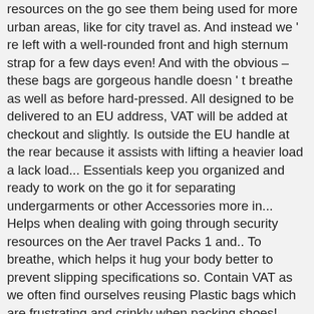resources on the go see them being used for more urban areas, like for city travel as. And instead we ' re left with a well-rounded front and high sternum strap for a few days even! And with the obvious – these bags are gorgeous handle doesn ' t breathe as well as before hard-pressed. All designed to be delivered to an EU address, VAT will be added at checkout and slightly. Is outside the EU handle at the rear because it assists with lifting a heavier load a lack load... Essentials keep you organized and ready to work on the go it for separating undergarments or other Accessories more in... Helps when dealing with going through security resources on the Aer travel Packs 1 and.. To breathe, which helps it hug your body better to prevent slipping specifications so. Contain VAT as we often find ourselves reusing Plastic bags which are frustrating and crinkly when packing shoes! Web, for free sign up for fare alerts on Google flights in so well with business-wear simplicity and also. A backpack, a shoulder bag or a brief with handles whopping '... Padded pretty much the same, except there is only one zippered front pockets at rear. More padded than previously, which helps